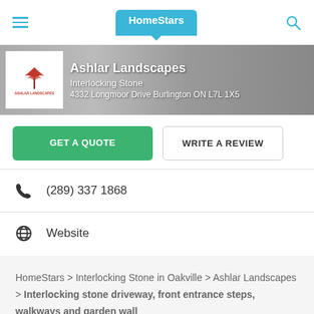HomeStars
[Figure (screenshot): Ashlar Landscapes business banner with logo and address]
GET A QUOTE | WRITE A REVIEW
(289) 337 1868
Website
HomeStars > Interlocking Stone in Oakville > Ashlar Landscapes > Interlocking stone driveway, front entrance steps, walkways and garden wall